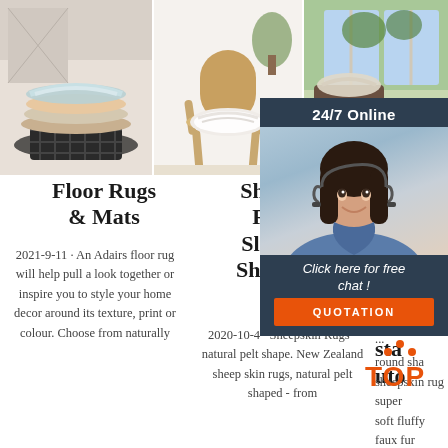[Figure (photo): Three product images in a row: stacked fluffy sheepskin rugs in various colors, a wooden chair with a white sheepskin seat pad, and an outdoor/patio scene with sheepskin rug]
[Figure (infographic): Live chat overlay widget showing '24/7 Online' header, photo of a female customer service agent wearing a headset, 'Click here for free chat!' text, and orange QUOTATION button]
Floor Rugs & Mats
2021-9-11 · An Adairs floor rug will help pull a look together or inspire you to style your home decor around its texture, print or colour. Choose from naturally
Sheepskin Rugs & Slippers – Sheepskins NZ
2020-10-4 · Sheepskin Rugs - natural pelt shape. New Zealand sheep skin rugs, natural pelt shaped - from
She... Sheepskin Rugs from Carstauto
...
round shape sheepskin rug super soft fluffy faux fur